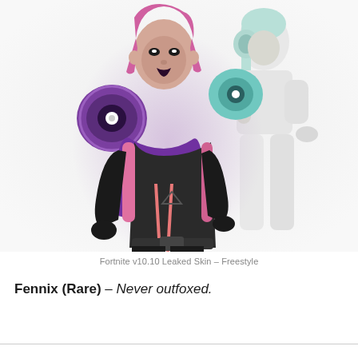[Figure (illustration): Fortnite v10.10 leaked skin - Freestyle. Two female character skins shown side by side: the left (foreground) character wearing a black outfit with a purple LED-dotted hoodie vest, large purple speaker-like shoulder pads, black pants, pink hair, and dark lipstick. The right (background) character is shown in white/grey outfit with mint-colored headphones and light hair.]
Fortnite v10.10 Leaked Skin – Freestyle
Fennix (Rare) – Never outfoxed.